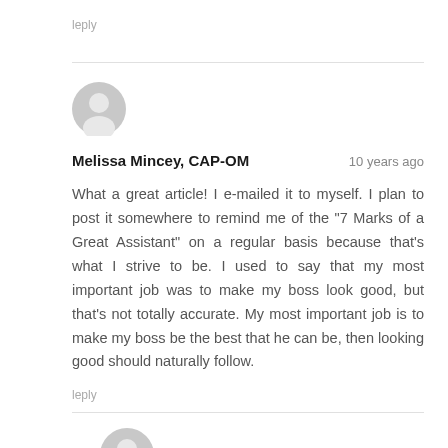Reply
[Figure (illustration): Generic grey user avatar icon (circle with person silhouette)]
Melissa Mincey, CAP-OM    10 years ago
What a great article! I e-mailed it to myself. I plan to post it somewhere to remind me of the "7 Marks of a Great Assistant" on a regular basis because that's what I strive to be. I used to say that my most important job was to make my boss look good, but that's not totally accurate. My most important job is to make my boss be the best that he can be, then looking good should naturally follow.
Reply
[Figure (illustration): Generic grey user avatar icon (circle with person silhouette)]